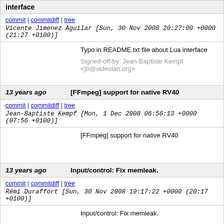interface
commit | commitdiff | tree   Vicente Jimenez Aguilar [Sun, 30 Nov 2008 20:27:00 +0000 (21:27 +0100)]
Typo in README.txt file about Lua interface

Signed-off-by: Jean-Baptiste Kempf <jb@videolan.org>
13 years ago   [FFmpeg] support for native RV40
commit | commitdiff | tree   Jean-Baptiste Kempf [Mon, 1 Dec 2008 06:56:13 +0000 (07:56 +0100)]
[FFmpeg] support for native RV40
13 years ago   Input/control: Fix memleak.
commit | commitdiff | tree   Rémi Duraffort [Sun, 30 Nov 2008 19:17:22 +0000 (20:17 +0100)]
Input/control: Fix memleak.
13 years ago   Initialize demux_meta_t before calling "meta reader".
commit | commitdiff | tree   Laurent Aimar [Sun, 30 Nov 2008 18:28:00 +0000 (19:28 +0100)]